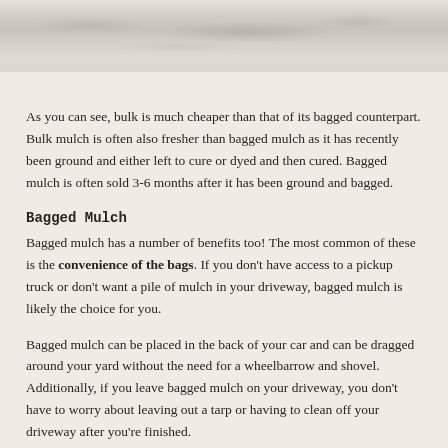[Figure (photo): Close-up photograph of mulch or soil/gravel texture, light grayish-brown earthy material]
As you can see, bulk is much cheaper than that of its bagged counterpart. Bulk mulch is often also fresher than bagged mulch as it has recently been ground and either left to cure or dyed and then cured. Bagged mulch is often sold 3-6 months after it has been ground and bagged.
Bagged Mulch
Bagged mulch has a number of benefits too! The most common of these is the convenience of the bags. If you don't have access to a pickup truck or don't want a pile of mulch in your driveway, bagged mulch is likely the choice for you.
Bagged mulch can be placed in the back of your car and can be dragged around your yard without the need for a wheelbarrow and shovel. Additionally, if you leave bagged mulch on your driveway, you don't have to worry about leaving out a tarp or having to clean off your driveway after you're finished.